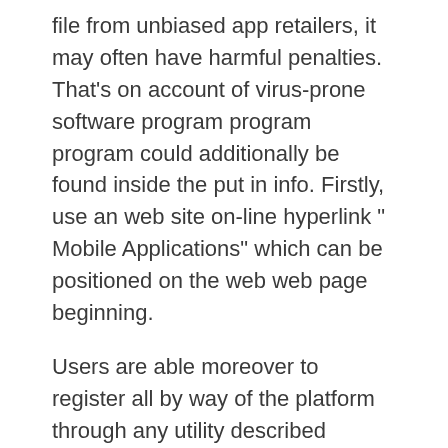file from unbiased app retailers, it may often have harmful penalties. That's on account of virus-prone software program program program could additionally be found inside the put in info. Firstly, use an web site on-line hyperlink " Mobile Applications" which can be positioned on the web web page beginning.
Users are able moreover to register all by way of the platform through any utility described above. 1xBet Android app is among the many many hottest on-line betting devices obtainable for the betting lovers all around the world. Moreover, you'll know every problem about cellular internet on line casino, registration bonuses together with compensation and withdrawal methods. iOS